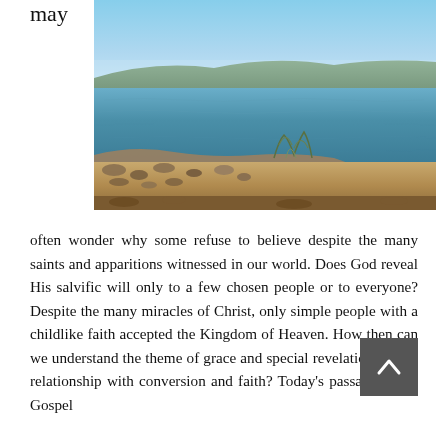may
[Figure (photo): A landscape photograph of the Sea of Galilee showing calm blue water with distant hills on the horizon, rocky shoreline with dry brush in the foreground, and a clear blue sky above.]
often wonder why some refuse to believe despite the many saints and apparitions witnessed in our world. Does God reveal His salvific will only to a few chosen people or to everyone? Despite the many miracles of Christ, only simple people with a childlike faith accepted the Kingdom of Heaven. How then can we understand the theme of grace and special revelation and its relationship with conversion and faith? Today's passage of the Gospel